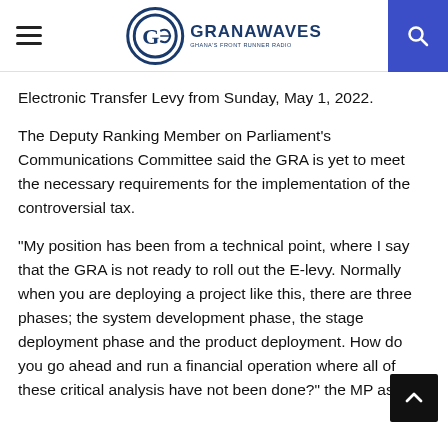GRANAWAVES — Ghana's Front Runner Radio
Electronic Transfer Levy from Sunday, May 1, 2022.
The Deputy Ranking Member on Parliament's Communications Committee said the GRA is yet to meet the necessary requirements for the implementation of the controversial tax.
“My position has been from a technical point, where I say that the GRA is not ready to roll out the E-levy. Normally when you are deploying a project like this, there are three phases; the system development phase, the stage deployment phase and the product deployment. How do you go ahead and run a financial operation where all of these critical analysis have not been done?” the MP asked.